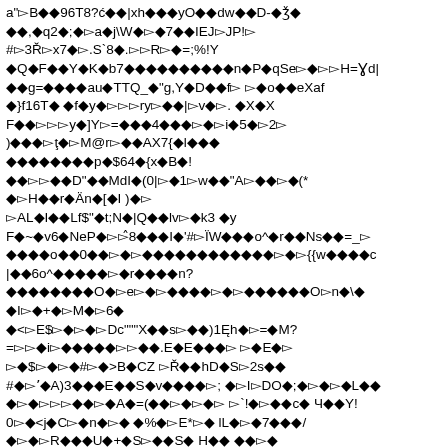a"◻B◻◆◆96T8?ć◻◆|xh◻◆◆yO◆◆dw◆◆D-◆ǰ◆
◆◆,◆q2◆;◆◻a◆j\W◆◻◆7◆◆IEJ◻JP!◻
#◻3Ř◻x7◆◻.S`8◆.◻◻R◻◆=;%!Y
◆Q◆F◆◆Y◆K◆b7◆◆◆◆◆◆◆◆◆◆n◆P◆qSe◻◆◻◻H=Ɣd|
◆◆g=◆◆◆◆au◆TTQ_◆"g,Y◆D◆◆f◻ ◻◆o◆◆eXaf
◆}f16T◆ ◆f◆y◆◻◻◻ry◻◆◆|◻v◆◻. ◆X◆X
F◆◆◻◻◻y◆]Y◻=◆◆◆4◆◆◆◻◆◻i◆5◆◻2◻
)◆◆◆◻ţ◆◻M@r◻◆◆AX7{◆l◆◆◆
◆◆◆◆◆◆◆◆p◆$64◆{x◆B◆!
◆◆◻◻◆◆D"◆◆MdI◆(0|◻◆1◻w◆◆"A◻◆◆◻◆(*
◆◻H◆◆r◆Än◆[◆I )◆◻
◻AL◆I◆◆Lf$"◆t;N◆|Q◆◆lv◻◆k3 ◆y
F◆~◆v6◆NeP◆◻◻̂8◆◆◆I◆'#◻ÏW◆◆◆o^◆r◆◆Ns◆◆=_◻
◆◆◆◆o◆◆0◆◆◻◆◻◆◆◆◆◆◆◆◆◆◆◆◆◻◆◻{{w◆◆◆◆c
|◆◆6o^◆◆◆◆◆◻◆r◆◆◆◆n?
◆◆◆◆◆◆◆◆O◆◻e◻◆◻◆◆◆◆◻◆◻◆◆◆◆◆◆O◻n◆\◆
◆I◻◆+◆◻M◆◻6◆
◆<◻E$◻◆◻◆◻Dc"""X◆◆s◻◆◆)1Ę h◆◻=◆M?
=◻◻◆i◻◆◆◆◆◆◻◻◆◆.E◆E◆◆◆◻ ◻◆E◆◻
◻◆$◻◆◻◆#◻◆>B◆CZ ◻Ř◆◆hD◆S◻2s◆◆
#◆◻ʼ◆A)3◆◆◆E◆◆S◆v◆◆◆◆◻; ◆◻I◻DO◆;◆◻◆◻◆L◆◆
◆◻◆◻◻◻◆◆◻◆A◆=(◆◆◻◆◻◆◻ ◻`!◆◻◆◆c◆ Ч◆◆Y!
0◻◆<j◆C◻◆n◆◻◆ ◆%◆◻E*◻◆ lL◆◻◆7◆◆◆/
◆◻◆◻R◆◆◆U◆+◆S◻◆◆S◆ H◆◆ ◆◆◻◆